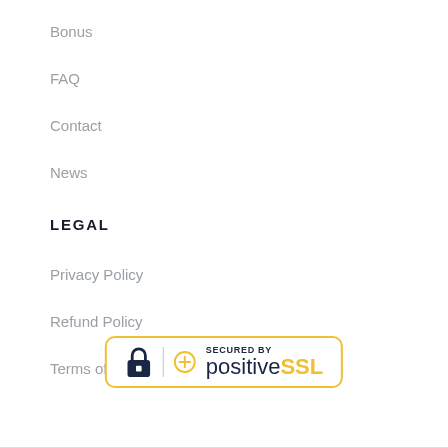Bonus
FAQ
Contact
News
LEGAL
Privacy Policy
Refund Policy
Terms of Service
[Figure (logo): Secured by PositiveSSL badge with padlock icon and yellow border]